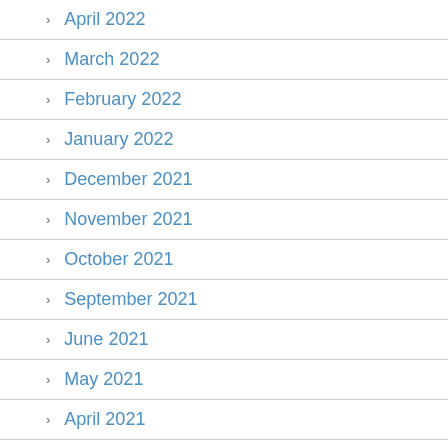April 2022
March 2022
February 2022
January 2022
December 2021
November 2021
October 2021
September 2021
June 2021
May 2021
April 2021